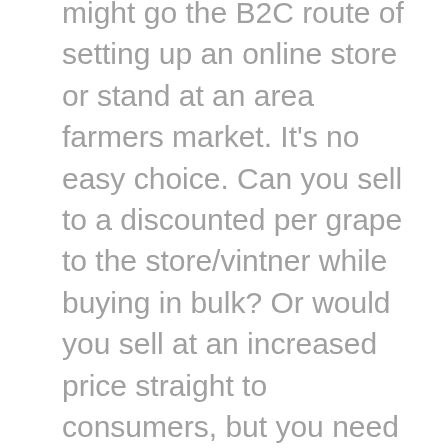might go the B2C route of setting up an online store or stand at an area farmers market. It's no easy choice. Can you sell to a discounted per grape to the store/vintner while buying in bulk? Or would you sell at an increased price straight to consumers, but you need to feel the effort of attaining the consumer, and you risk not selling all your product? It can also be not as simple as just selling your product. You must market it. This introduces the central question inspiring the following two sections: